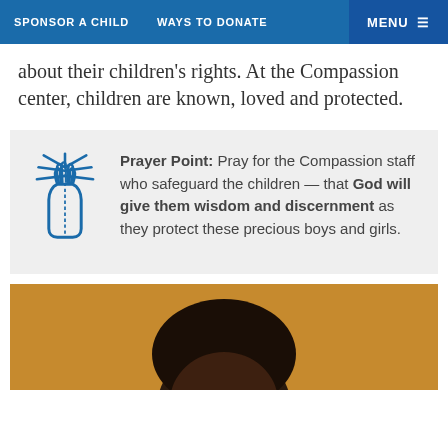SPONSOR A CHILD   WAYS TO DONATE   MENU
about their children's rights. At the Compassion center, children are known, loved and protected.
[Figure (infographic): Prayer point box with praying hands icon and text: Prayer Point: Pray for the Compassion staff who safeguard the children — that God will give them wisdom and discernment as they protect these precious boys and girls.]
[Figure (photo): Close-up photo of a child's head with dark hair against an orange/golden background, cropped at the neck.]